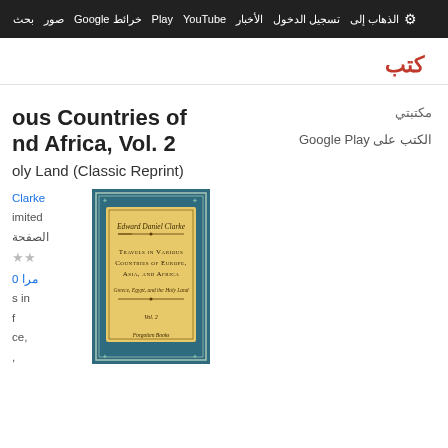بحث صور خرائط Google Play YouTube الأخبار تسجيل الدخول الذهاب إلى
كتب
ous Countries of nd Africa, Vol. 2 oly Land (Classic Reprint)
Clarke
limited
الصفحة
★★
0 مرا
s in
f
ce,
[Figure (illustration): Book cover of Travels in Various Countries of Europe, Asia, and Africa by Edward Daniel Clarke, Vol. 2, Greece, Egypt, and the Holy Land. Published by Forgotten Books. Teal cover with yellow label.]
مكتبتي
الكتب على Google Play